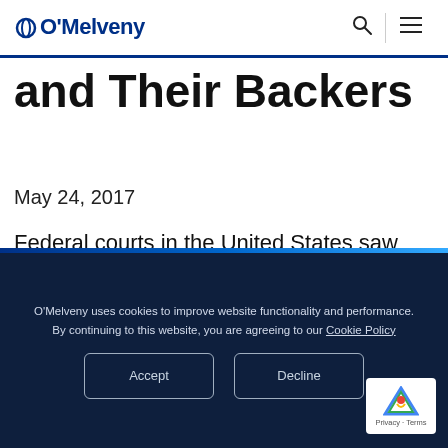O'Melveny
and Their Backers
May 24, 2017
Federal courts in the United States saw more securities class actions filed in 2016 than in any year since the 1995 passage of the Private
O'Melveny uses cookies to improve website functionality and performance. By continuing to this website, you are agreeing to our Cookie Policy